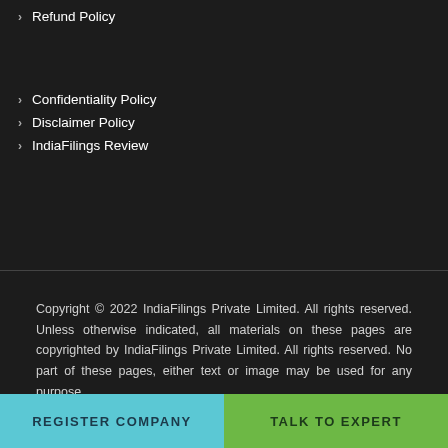Refund Policy
Confidentiality Policy
Disclaimer Policy
IndiaFilings Review
Copyright © 2022 IndiaFilings Private Limited. All rights reserved. Unless otherwise indicated, all materials on these pages are copyrighted by IndiaFilings Private Limited. All rights reserved. No part of these pages, either text or image may be used for any purpose.
REGISTER COMPANY   TALK TO EXPERT